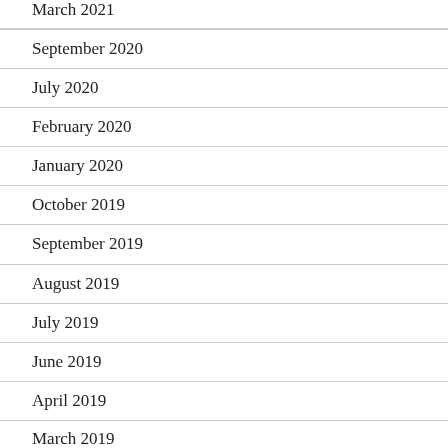March 2021
September 2020
July 2020
February 2020
January 2020
October 2019
September 2019
August 2019
July 2019
June 2019
April 2019
March 2019